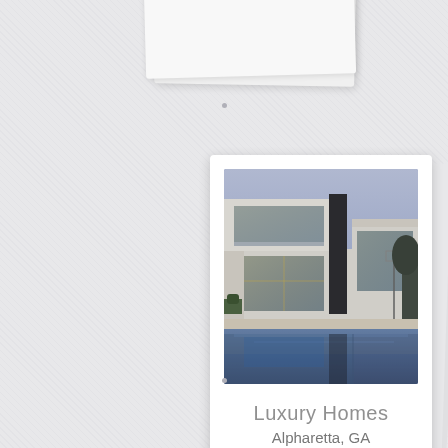[Figure (photo): Polaroid-style card stack showing a luxury modern home with pool at dusk, with text 'Luxury Homes' and 'Alpharetta, GA' below the photo. Partial cards visible above and below.]
Luxury Homes
Alpharetta, GA